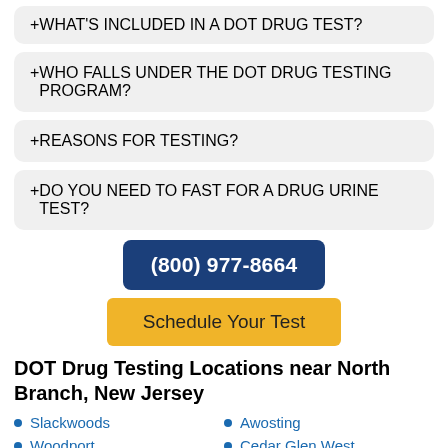+ WHAT'S INCLUDED IN A DOT DRUG TEST?
+ WHO FALLS UNDER THE DOT DRUG TESTING PROGRAM?
+ REASONS FOR TESTING?
+ DO YOU NEED TO FAST FOR A DRUG URINE TEST?
(800) 977-8664
Schedule Your Test
DOT Drug Testing Locations near North Branch, New Jersey
Slackwoods
Woodport
Florence
Awosting
Cedar Glen West
McCoys Corner